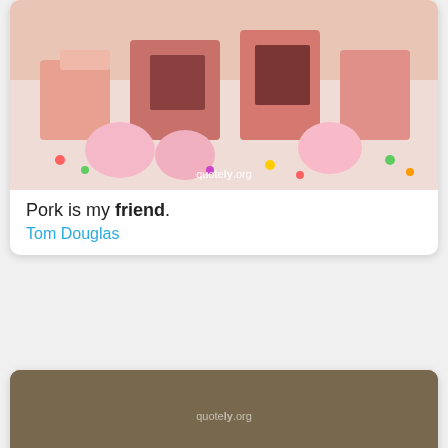[Figure (photo): Partial photo of colorful candy and desserts with quotely.org watermark]
Pork is my friend.
Tom Douglas
[Figure (photo): Photo of a horse with overlaid text 'God's my best friend.' and 'Candace Cameron Bure' with quotely.org watermark]
God's my best friend.
Candace Cameron Bure